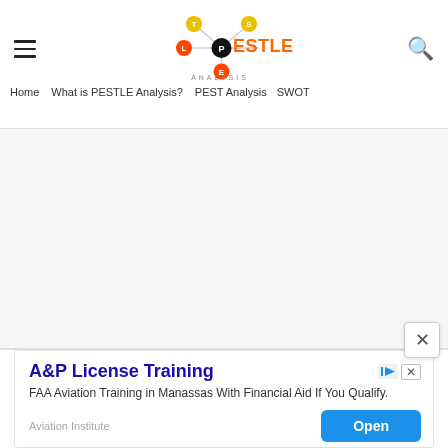PESTLE ANALYSIS — site header with navigation: Home | What is PESTLE Analysis? | PEST Analysis | SWOT
[Figure (logo): PESTLE Analysis website logo — colored dots (red, yellow, orange) connected by lines with letters P, E, S, T, L, E; bold orange PESTLE text and gray ANALYSIS subtitle]
Home   What is PESTLE Analysis?   PEST Analysis   SWOT
[Figure (screenshot): Large white/gray empty content area (advertisement or article content loading area)]
[Figure (infographic): Ad banner: A&P License Training — FAA Aviation Training in Manassas With Financial Aid If You Qualify. Aviation Institute. Open button.]